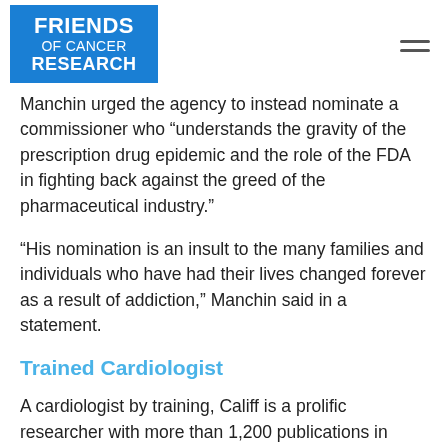FRIENDS of CANCER RESEARCH
Manchin urged the agency to instead nominate a commissioner who “understands the gravity of the prescription drug epidemic and the role of the FDA in fighting back against the greed of the pharmaceutical industry.”
“His nomination is an insult to the many families and individuals who have had their lives changed forever as a result of addiction,” Manchin said in a statement.
Trained Cardiologist
A cardiologist by training, Califf is a prolific researcher with more than 1,200 publications in peer-reviewed literature. That work drew